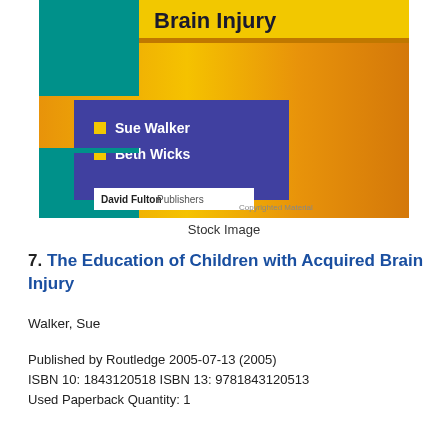[Figure (photo): Book cover of 'The Education of Children with Acquired Brain Injury' by Sue Walker and Beth Wicks, published by David Fulton Publishers. Cover features teal, purple, and yellow/orange design with author names listed.]
Stock Image
7. The Education of Children with Acquired Brain Injury
Walker, Sue
Published by Routledge 2005-07-13 (2005)
ISBN 10: 1843120518 ISBN 13: 9781843120513
Used Paperback Quantity: 1